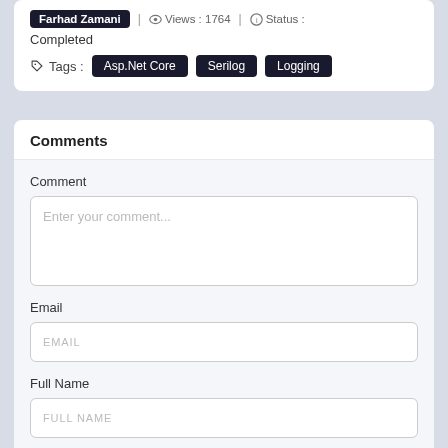Farhad Zamani | Views : 1764 | Status :
Completed
Tags : Asp.Net Core  Serilog  Logging
Comments
Comment
Enter your comment...
Email
EMAIL
Full Name
FULL NAME